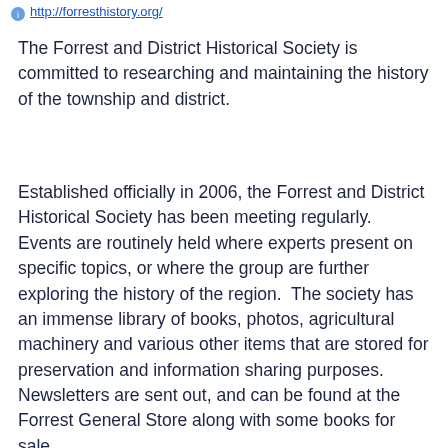http://forresthistory.org/
The Forrest and District Historical Society is committed to researching and maintaining the history of the township and district.
Established officially in 2006, the Forrest and District Historical Society has been meeting regularly.  Events are routinely held where experts present on specific topics, or where the group are further exploring the history of the region.  The society has an immense library of books, photos, agricultural machinery and various other items that are stored for preservation and information sharing purposes.  Newsletters are sent out, and can be found at the Forrest General Store along with some books for sale.